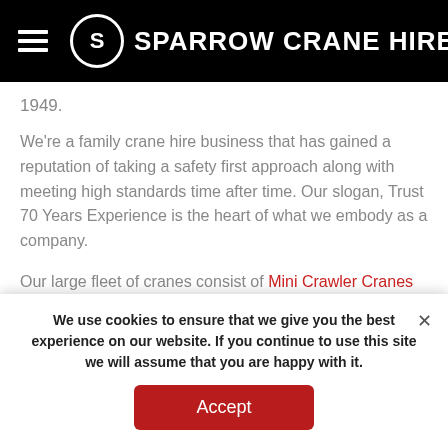SPARROW CRANE HIRE
1949.
We're a family crane hire business that has gained a reputation of taking a safety first approach along with meeting high standards time after time. Our slogan, Trust 70 Years Experience is the heart of what we embody as a company.
Our large fleet of cranes consist of Mini Crawler Cranes
We use cookies to ensure that we give you the best experience on our website. If you continue to use this site we will assume that you are happy with it.